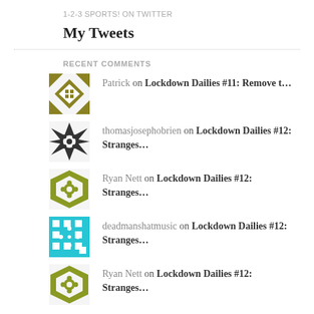1-2-3 SPORTS! ON TWITTER
My Tweets
RECENT COMMENTS
Patrick on Lockdown Dailies #11: Remove t…
thomasjosephobrien on Lockdown Dailies #12: Stranges…
Ryan Nett on Lockdown Dailies #12: Stranges…
deadmanshatmusic on Lockdown Dailies #12: Stranges…
Ryan Nett on Lockdown Dailies #12: Stranges…